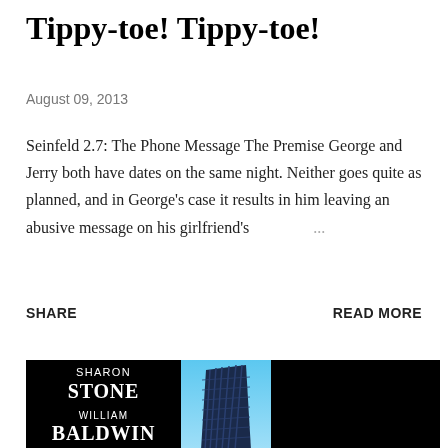Tippy-toe! Tippy-toe!
August 09, 2013
Seinfeld 2.7: The Phone Message The Premise George and Jerry both have dates on the same night. Neither goes quite as planned, and in George's case it results in him leaving an abusive message on his girlfriend's ...
SHARE
READ MORE
[Figure (photo): Movie poster or promotional image showing 'SHARON STONE' and 'WILLIAM BALDWIN' text on a black background with a tall building/skyscraper in the center under a blue sky]